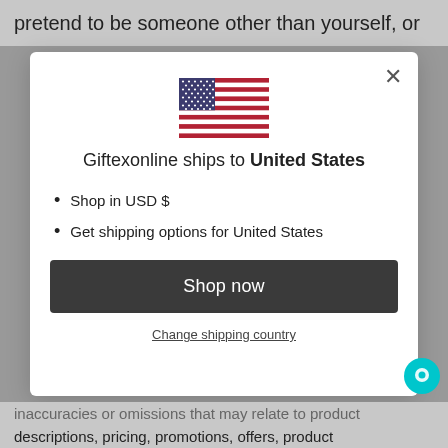pretend to be someone other than yourself, or
[Figure (screenshot): Modal dialog showing US flag and shipping information for Giftexonline website]
Shop in USD $
Get shipping options for United States
Shop now
Change shipping country
inaccuracies or omissions that may relate to product descriptions, pricing, promotions, offers, product